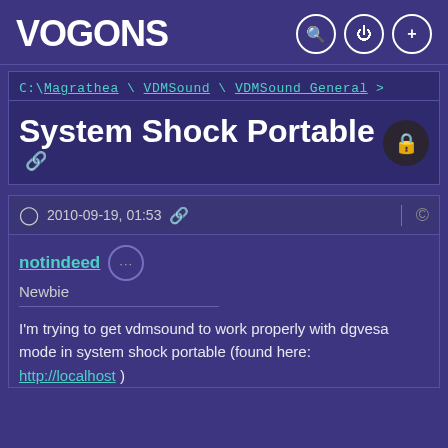VOGONS
C:\Magrathea \ VDMSound \ VDMSound General >
System Shock Portable
2010-09-19, 01:53
notindeed
Newbie
I'm trying to get vdmsound to work properly with dgvesa mode in system shock portable (found here: http://localhost )